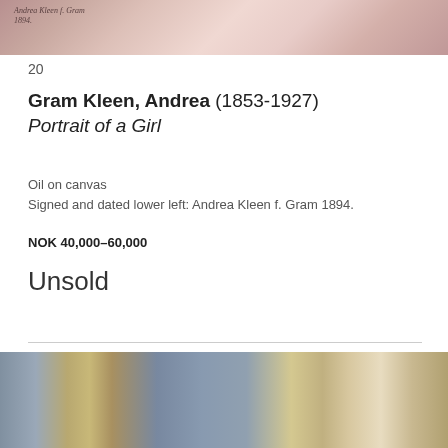[Figure (photo): Top portion of painting showing a girl in pink/rose tones with a signature 'Andrea Kleen f. Gram 1894' visible in upper left]
20
Gram Kleen, Andrea (1853-1927)
Portrait of a Girl
Oil on canvas
Signed and dated lower left: Andrea Kleen f. Gram 1894.
NOK 40,000–60,000
Unsold
[Figure (photo): Bottom portion of a painting showing a reclining figure in white/cream clothing on an ornate sofa with decorative wallpaper background]